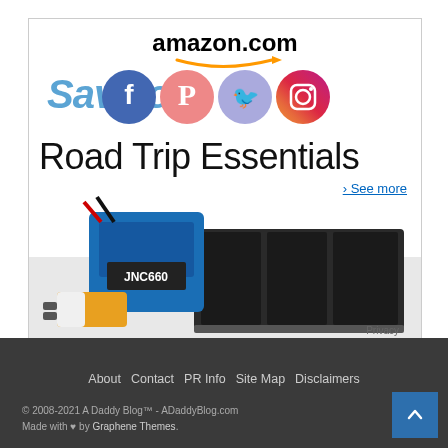[Figure (screenshot): Amazon.com advertisement banner for Road Trip Essentials showing amazon.com logo with orange arrow, social media icons (Facebook, Pinterest, Twitter, Instagram), large text 'Road Trip Essentials', '› See more' link, product images of a jump starter (JNC660) and car trunk organizer, and Privacy text in lower right corner.]
About    Contact    PR Info    Site Map    Disclaimers
© 2008-2021 A Daddy Blog™ - ADaddyBlog.com
Made with ♥ by Graphene Themes.